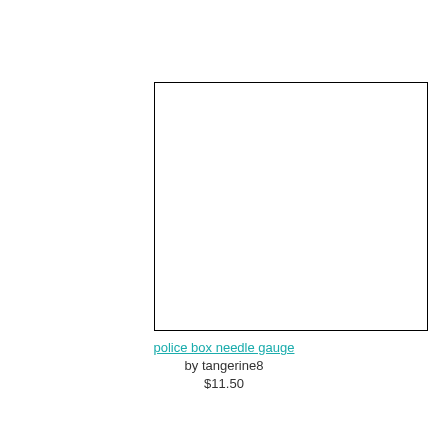[Figure (other): White rectangle with black border, representing a product image placeholder for police box needle gauge]
police box needle gauge
by tangerine8
$11.50